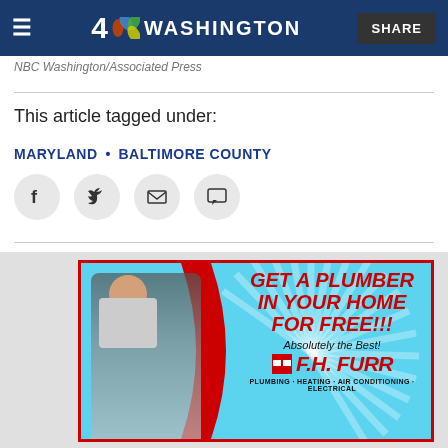NBC 4 Washington | SHARE
NBC Washington/Associated Press
This article tagged under:
MARYLAND • BALTIMORE COUNTY
[Figure (infographic): Advertisement for F.H. Furr plumbing service: 'GET A PLUMBER IN YOUR HOME FOR FREE!!! Absolutely the Best! F.H. FURR - PLUMBING · HEATING · AIR CONDITIONING · ELECTRICAL']